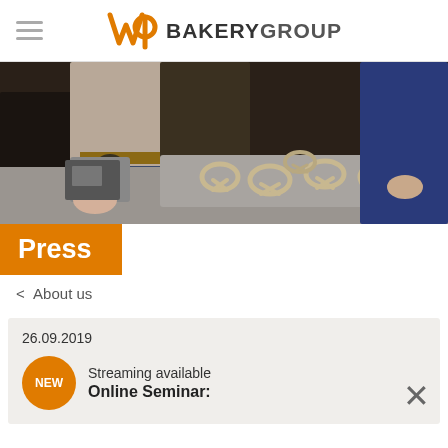WP BAKERYGROUP
[Figure (photo): Workers observing pretzels on a bakery conveyor tray in an industrial bakery setting]
Press
< About us
26.09.2019
Streaming available
Online Seminar: